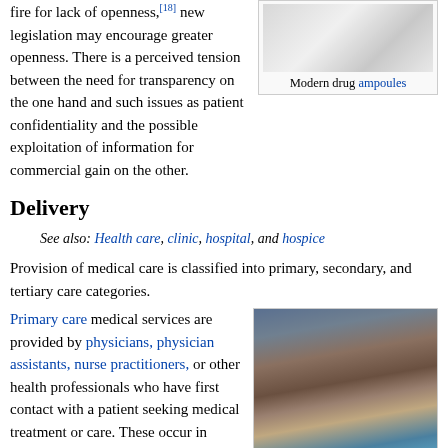fire for lack of openness,[18] new legislation may encourage greater openness. There is a perceived tension between the need for transparency on the one hand and such issues as patient confidentiality and the possible exploitation of information for commercial gain on the other.
[Figure (photo): Photo of modern drug ampoules, small glass vials arranged together]
Modern drug ampoules
Delivery
See also: Health care, clinic, hospital, and hospice
Provision of medical care is classified into primary, secondary, and tertiary care categories.
Primary care medical services are provided by physicians, physician assistants, nurse practitioners, or other health professionals who have first contact with a patient seeking medical treatment or care. These occur in physician offices, clinics,
[Figure (photo): Photo of healthcare workers or patients in a clinical setting, showing people in white coats]